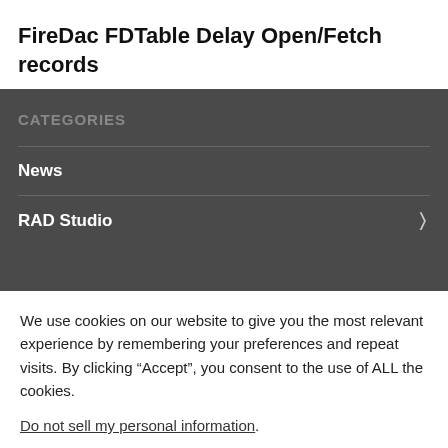FireDac FDTable Delay Open/Fetch records
CATEGORIES
News
RAD Studio
We use cookies on our website to give you the most relevant experience by remembering your preferences and repeat visits. By clicking “Accept”, you consent to the use of ALL the cookies.
Do not sell my personal information.